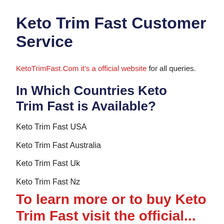Keto Trim Fast Customer Service
KetoTrimFast.Com it's a official website for all queries.
In Which Countries Keto Trim Fast is Available?
Keto Trim Fast USA
Keto Trim Fast Australia
Keto Trim Fast Uk
Keto Trim Fast Nz
To learn more or to buy Keto Trim Fast visit the official...